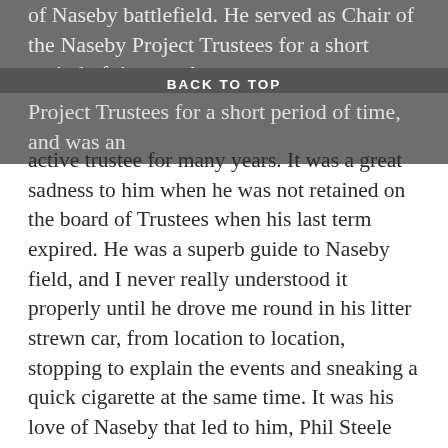of Naseby battlefield. He served as Chair of the Naseby Project Trustees for a short period of time, and was an
BACK TO TOP
active trustee for many years. It was a great sadness to him when he was not retained on the board of Trustees when his last term expired. He was a superb guide to Naseby field, and I never really understood it properly until he drove me round in his litter strewn car, from location to location, stopping to explain the events and sneaking a quick cigarette at the same time. It was his love of Naseby that led to him, Phil Steele and I ending up there during BBC Radio Northampton's “Northamptonshire Week” outside broadcast being interviewed on the county's heritage for the breakfast show. It was one cold, wet, morning, and the last time the three of us were together. It was brilliant. Mike also found new things to say about Naseby, and his research on the role of the Rockingham Garrison, (which you can read in his chapter on Naseby in our book on Northamptonshire's battles, which I co-authored with him) does much to explain why the battle's